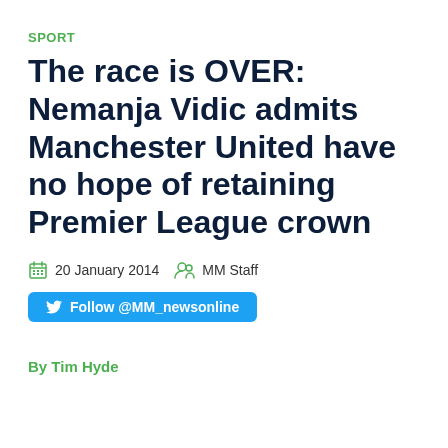SPORT
The race is OVER: Nemanja Vidic admits Manchester United have no hope of retaining Premier League crown
20 January 2014   MM Staff
Follow @MM_newsonline
By Tim Hyde